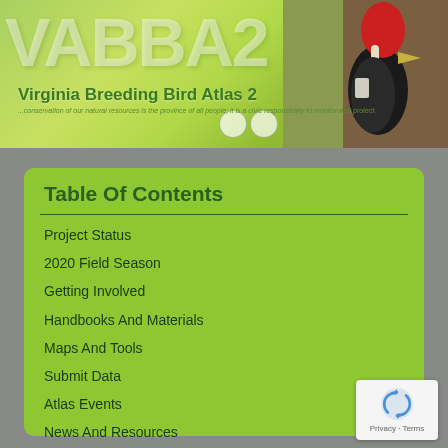[Figure (photo): Virginia Breeding Bird Atlas 2 website header banner with VABBA2 watermark text, green bokeh background, a Pileated Woodpecker photo on the right, and two small logos.]
Virginia Breeding Bird Atlas 2
...conservation of our natural resources is the province of all people; it is a civic responsibility to monitor and protect.
Table Of Contents
Project Status
2020 Field Season
Getting Involved
Handbooks And Materials
Maps And Tools
Submit Data
Atlas Events
News And Resources
Contacts
VABBA2 EStore